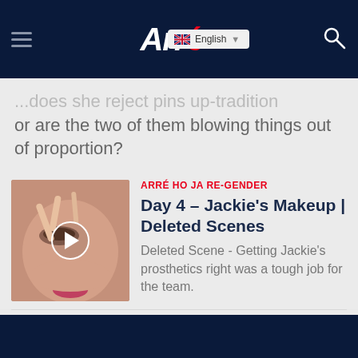Arré — English
or are the two of them blowing things out of proportion?
ARRÉ HO JA RE-GENDER
Day 4 – Jackie's Makeup | Deleted Scenes
Deleted Scene - Getting Jackie's prosthetics right was a tough job for the team.
ARRÉ HO JA RE-GENDER
Day 2 – Vishal on 'Parampara' |